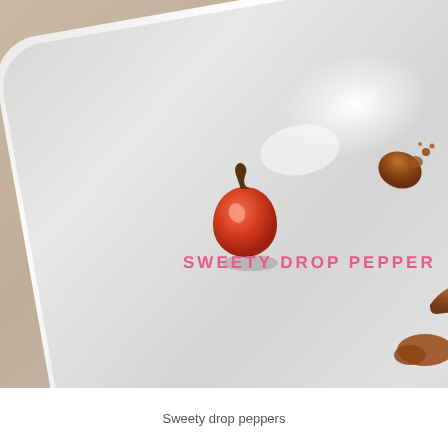[Figure (photo): A white rectangular plate on a light wood surface with a small red sweety drop pepper and several brown sauce drops/smears on the plate. Text overlay reads 'SWEETY DROP PEPPER' in pink uppercase letters.]
Sweety drop peppers